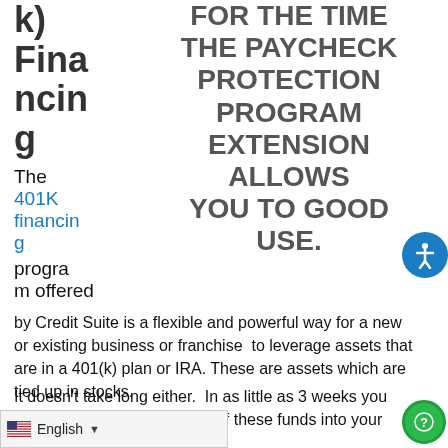k) Financing
FOR THE TIME THE PAYCHECK PROTECTION PROGRAM EXTENSION ALLOWS YOU TO GOOD USE.
The 401K financing program offered by Credit Suite is a flexible and powerful way for a new or existing business or franchise to leverage assets that are in a 401(k) plan or IRA. These are assets which are tied up in stocks.
It doesn't take long either. In as little as 3 weeks you can actually invest a portion of these funds into your own business. And when you do, not only have more